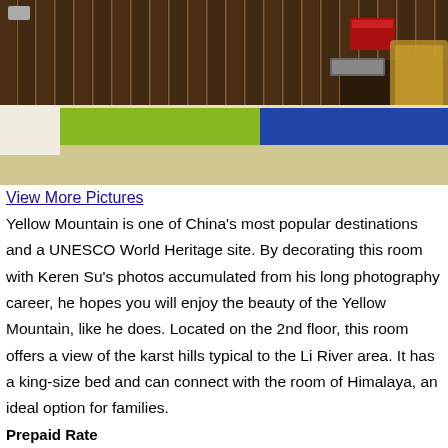[Figure (photo): Interior hotel room photo showing a bed with yellow/green/blue bedding runner, dark wooden paneled wall with vertical slats, and a nightstand with a telephone and red box in background.]
View More Pictures
Yellow Mountain is one of China’s most popular destinations and a UNESCO World Heritage site. By decorating this room with Keren Su’s photos accumulated from his long photography career, he hopes you will enjoy the beauty of the Yellow Mountain, like he does. Located on the 2nd floor, this room offers a view of the karst hills typical to the Li River area. It has a king-size bed and can connect with the room of Himalaya, an ideal option for families.
Prepaid Rate